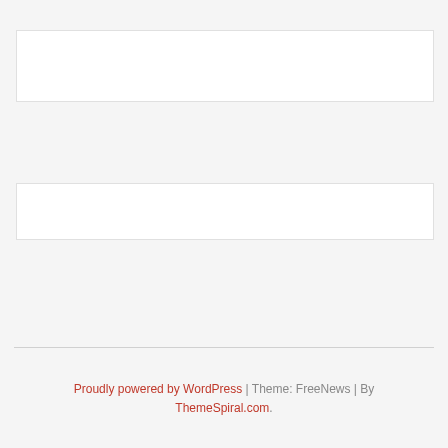[Figure (other): Empty white content box (top area) on light gray background]
[Figure (other): Empty white content box (middle area) on light gray background]
Proudly powered by WordPress | Theme: FreeNews | By ThemeSpiral.com.